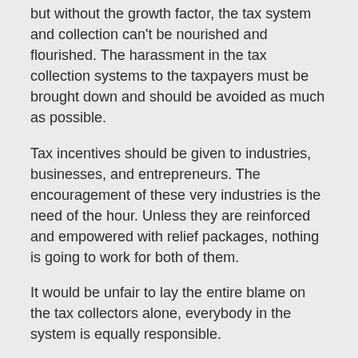but without the growth factor, the tax system and collection can't be nourished and flourished. The harassment in the tax collection systems to the taxpayers must be brought down and should be avoided as much as possible.
Tax incentives should be given to industries, businesses, and entrepreneurs. The encouragement of these very industries is the need of the hour. Unless they are reinforced and empowered with relief packages, nothing is going to work for both of them.
It would be unfair to lay the entire blame on the tax collectors alone, everybody in the system is equally responsible.
Following are some strategic points that can relate to the articulation of policies for FBR.